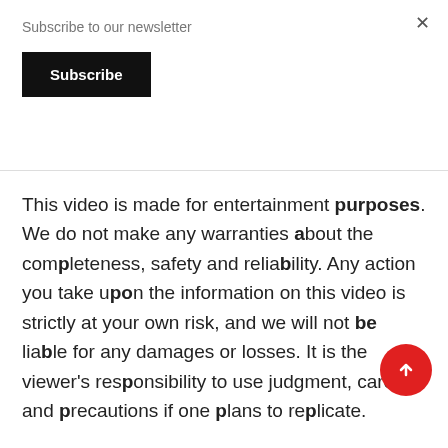Subscribe to our newsletter
Subscribe
This video is made for entertainment purposes. We do not make any warranties about the completeness, safety and reliability. Any action you take upon the information on this video is strictly at your own risk, and we will not be liable for any damages or losses. It is the viewer's responsibility to use judgment, care and precautions if one plans to replicate.
The following video might feature activity